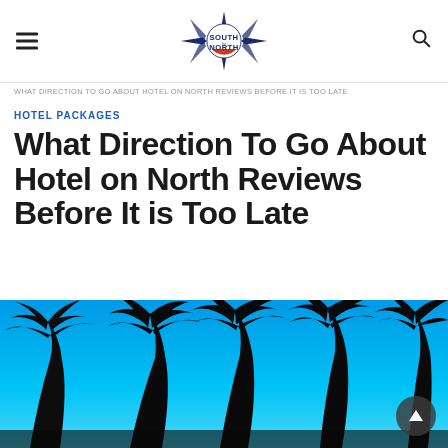SOUTH by NORTH (logo)
WHAT DIRECTION TO GO ABOUT HOTEL ON NORTH REVIEWS BEFORE IT IS TOO LATE
HOTEL PACKAGES
What Direction To Go About Hotel on North Reviews Before It is Too Late
[Figure (photo): Silhouette of tropical palm trees against a bright blue sky, photographed from below at dusk or twilight.]